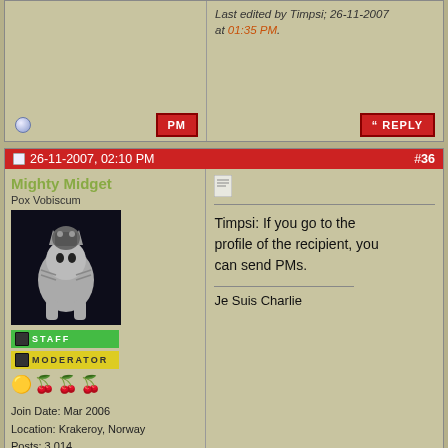Last edited by Timpsi; 26-11-2007 at 01:35 PM.
[Figure (screenshot): PM button (red)]
[Figure (screenshot): REPLY button (red)]
26-11-2007, 02:10 PM  #36
Mighty Midget
Pox Vobiscum
[Figure (photo): Avatar: pixel art cat with robot/armor riding]
STAFF
MODERATOR
Join Date: Mar 2006
Location: Krakeroy, Norway
Posts: 3,014
Timpsi: If you go to the profile of the recipient, you can send PMs.
Je Suis Charlie
26-11-2007, 04:29 PM  #37
Timpsi
Hero Gamer